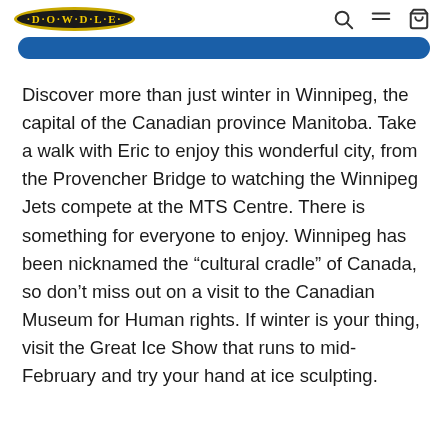DOWDLE
Discover more than just winter in Winnipeg, the capital of the Canadian province Manitoba. Take a walk with Eric to enjoy this wonderful city, from the Provencher Bridge to watching the Winnipeg Jets compete at the MTS Centre. There is something for everyone to enjoy. Winnipeg has been nicknamed the “cultural cradle” of Canada, so don’t miss out on a visit to the Canadian Museum for Human rights. If winter is your thing, visit the Great Ice Show that runs to mid-February and try your hand at ice sculpting.